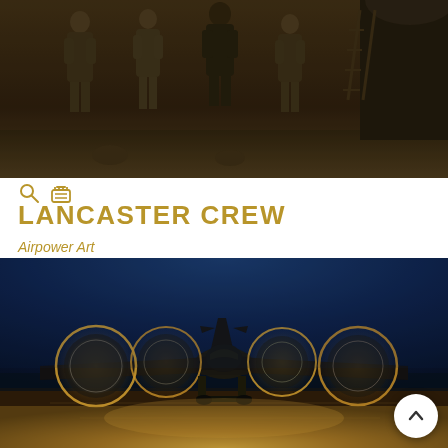[Figure (photo): Black and white sepia-toned photograph of Lancaster bomber crew members in flight suits standing on an airfield tarmac, with part of the aircraft visible on the right]
LANCASTER CREW
Airpower Art
[Figure (photo): Color night photograph of a Lancaster bomber on a tarmac with all four propellers spinning, illuminated by warm ground lighting against a deep blue twilight sky, with orange circular light halos around each propeller]